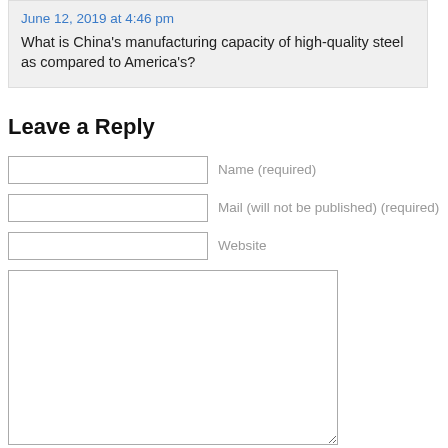June 12, 2019 at 4:46 pm
What is China's manufacturing capacity of high-quality steel as compared to America's?
Leave a Reply
Name (required)
Mail (will not be published) (required)
Website
Submit Comment